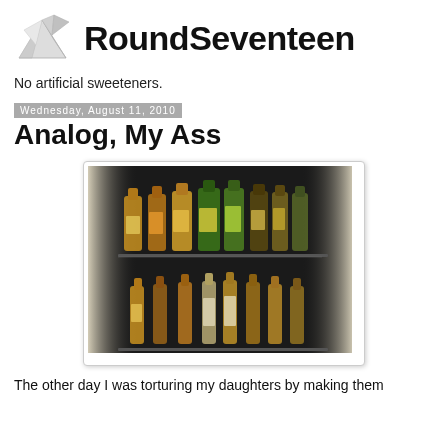[Figure (logo): RoundSeventeen blog logo with origami bird/newspaper icon on left and bold text 'RoundSeventeen' on right]
No artificial sweeteners.
Wednesday, August 11, 2010
Analog, My Ass
[Figure (photo): Photo of a refrigerator stocked with rows of glass bottles of various beverages on two shelves, lit from inside]
The other day I was torturing my daughters by making them